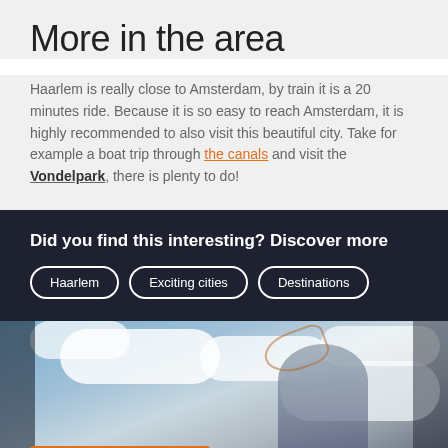More in the area
Haarlem is really close to Amsterdam, by train it is a 20 minutes ride. Because it is so easy to reach Amsterdam, it is highly recommended to also visit this beautiful city. Take for example a boat trip through the canals and visit the Vondelpark, there is plenty to do!
Did you find this interesting? Discover more
Haarlem
Exciting cities
Destinations
[Figure (photo): Woman with hair blowing in wind against a cloudy sky background, with an orange banner at bottom]